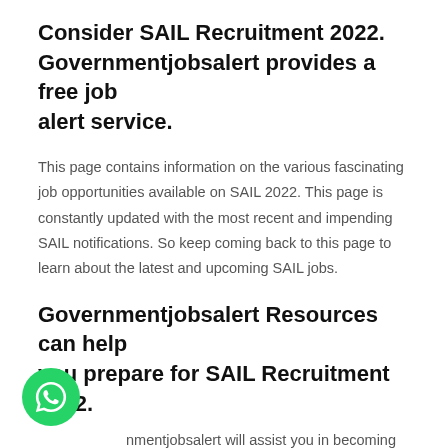Consider SAIL Recruitment 2022. Governmentjobsalert provides a free job alert service.
This page contains information on the various fascinating job opportunities available on SAIL 2022. This page is constantly updated with the most recent and impending SAIL notifications. So keep coming back to this page to learn about the latest and upcoming SAIL jobs.
Governmentjobsalert Resources can help you prepare for SAIL Recruitment 2022.
[Figure (logo): WhatsApp green circular button with white phone/chat icon]
nmentjobsalert will assist you in becoming registered in the